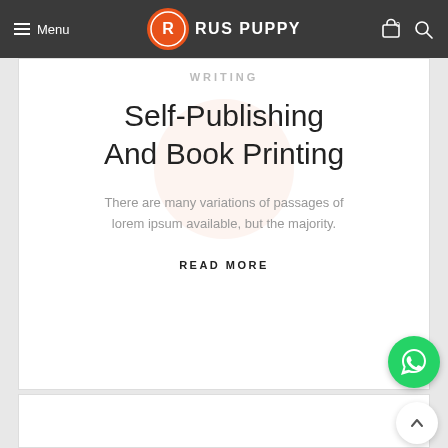Menu | Rus Puppy | Cart 0 | Search
WRITING
Self-Publishing And Book Printing
There are many variations of passages of lorem ipsum available, but the majority.
READ MORE